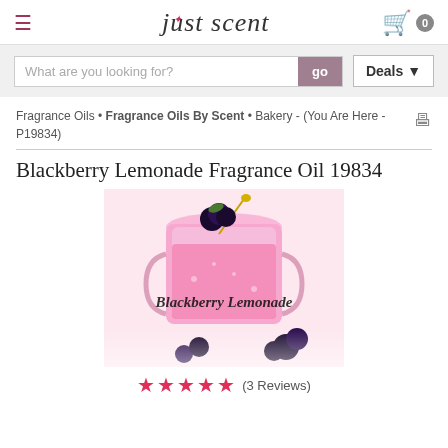just scent — navigation header with hamburger menu and cart icon showing 0 items
What are you looking for? [search box] go | Deals▼
Fragrance Oils • Fragrance Oils By Scent • Bakery - (You Are Here - P19834)
Blackberry Lemonade Fragrance Oil 19834
[Figure (photo): Photo of a mason jar glass filled with pink blackberry lemonade, topped with fresh blackberries and a straw, with text 'Blackberry Lemonade' overlaid, and blackberries scattered around the base on a white background.]
★★★★☆ (3 Reviews)